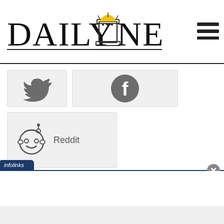[Figure (logo): Daily Nexus newspaper logo with text and building/cup icon in center]
[Figure (logo): Hamburger menu icon (three horizontal lines)]
[Figure (logo): Twitter bird icon social share button]
[Figure (logo): Facebook icon social share button]
[Figure (logo): Reddit alien icon social share button with Reddit label]
[Figure (infographic): Infolinks advertisement bar with blue label tag and close X button]